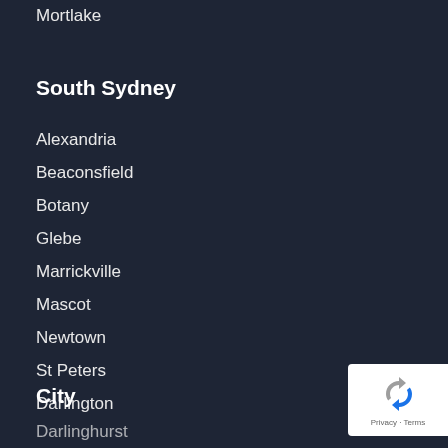Mortlake
South Sydney
Alexandria
Beaconsfield
Botany
Glebe
Marrickville
Mascot
Newtown
St Peters
Darlington
City
Darlinghurst
[Figure (logo): Google reCAPTCHA badge with recycle/refresh icon in blue and gray, with Privacy and Terms links]